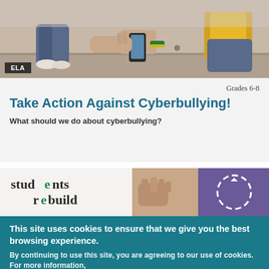[Figure (photo): Photo of teenagers sitting together, one holding a smartphone, wearing jeans and sneakers; warm casual setting]
ELA
Grades 6-8
Take Action Against Cyberbullying!
What should we do about cyberbullying?
[Figure (logo): Students Rebuild logo with stylized 'e' and 'b' letters, fist image, and circular arrow icon on right side]
This site uses cookies to ensure that we give you the best browsing experience.
By continuing to use this site, you are agreeing to our use of cookies. For more information,